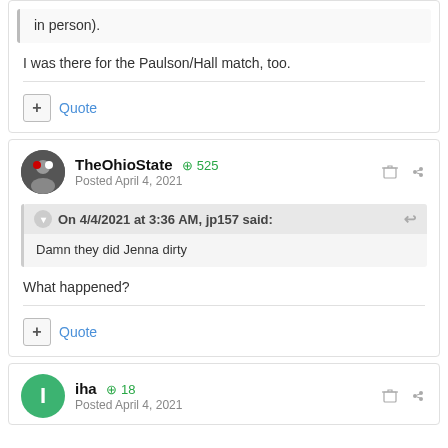in person).
I was there for the Paulson/Hall match, too.
TheOhioState  +525  Posted April 4, 2021
On 4/4/2021 at 3:36 AM, jp157 said:
Damn they did Jenna dirty
What happened?
iha  +18  Posted April 4, 2021